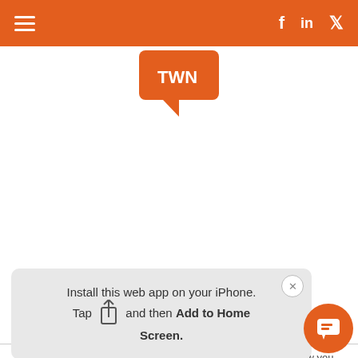TWN — navigation header with hamburger menu and social icons (Facebook, LinkedIn, Twitter)
[Figure (logo): TWN speech bubble logo in orange with white text]
Opioids
We use cookies to collect information about how you interact with our website. We use this information in order to improve and customize your browsing experience and for analytics and metrics about our visitors both on this website and other media. To find out more about the cookies we use, see our Privacy Policy.
If you decline, your information won't be tracked
[Figure (screenshot): Install this web app on your iPhone. Tap [share icon] and then Add to Home Screen. PWA install prompt popup with close button.]